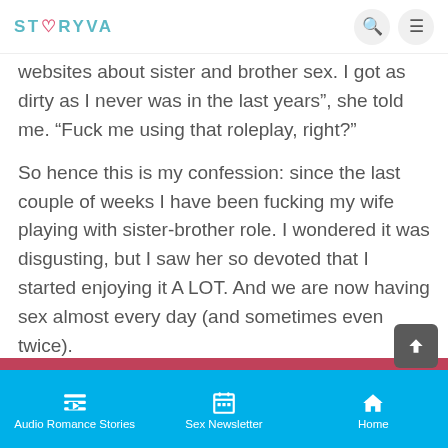STORYVA
websites about sister and brother sex. I got as dirty as I never was in the last years", she told me. "Fuck me using that roleplay, right?"
So hence this is my confession: since the last couple of weeks I have been fucking my wife playing with sister-brother role. I wondered it was disgusting, but I saw her so devoted that I started enjoying it A LOT. And we are now having sex almost every day (and sometimes even twice).
Audio Romance Stories | Sex Newsletter | Home